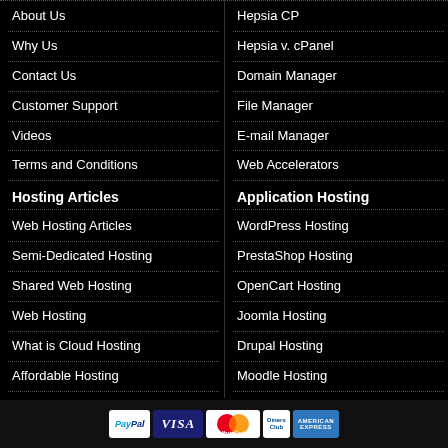About Us
Why Us
Contact Us
Customer Support
Videos
Terms and Conditions
Hosting Articles
Web Hosting Articles
Semi-Dedicated Hosting
Shared Web Hosting
Web Hosting
What is Cloud Hosting
Affordable Hosting
Hepsia CP
Hepsia v. cPanel
Domain Manager
File Manager
E-mail Manager
Web Accelerators
Application Hosting
WordPress Hosting
PrestaShop Hosting
OpenCart Hosting
Joomla Hosting
Drupal Hosting
Moodle Hosting
[Figure (other): Payment logos: PayPal, VISA, MasterCard, Diners Club, American Express]